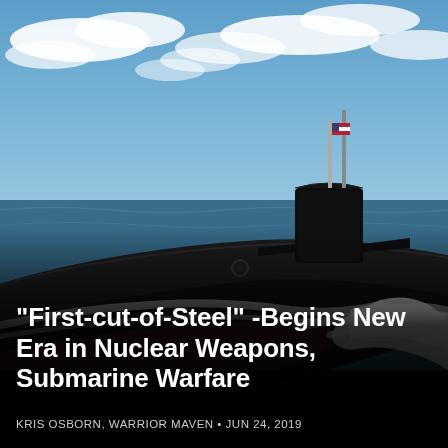[Figure (photo): A large black nuclear submarine cutting through ocean waves on the surface, with a sail (conning tower) visible bearing a US flag and two vertical masts. Blue sky with white clouds in the background. White foam and spray surround the bow.]
"First-cut-of-Steel" -Begins New Era in Nuclear Weapons, Submarine Warfare
KRIS OSBORN, WARRIOR MAVEN • JUN 24, 2019